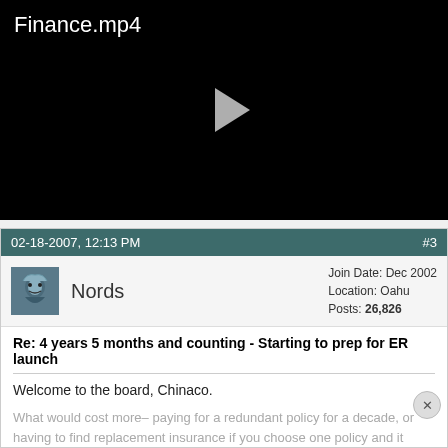[Figure (screenshot): Black video player showing 'Finance.mp4' title in white text at top left, with a grey play button triangle in the center]
02-18-2007, 12:13 PM
#3
[Figure (photo): Small avatar image of a cartoon character with blue tones]
Nords
Join Date: Dec 2002
Location: Oahu
Posts: 26,826
Re: 4 years 5 months and counting - Starting to prep for ER launch
Welcome to the board, Chinaco.
What would cost more– paying for a redundant policy for a decade, or having to find replacement insurance if you choose one policy and it